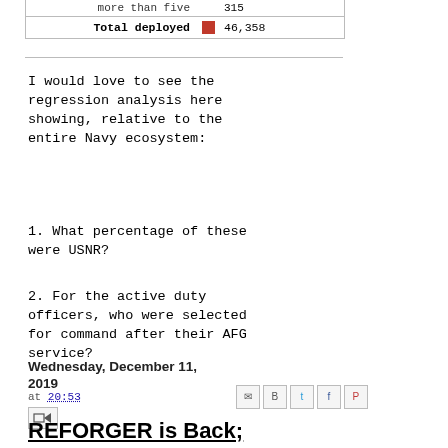| Category | Swatch | Count |
| --- | --- | --- |
| more than five |  | 315 |
| Total deployed | [red] | 46,358 |
I would love to see the regression analysis here showing, relative to the entire Navy ecosystem:
1. What percentage of these were USNR?
2. For the active duty officers, who were selected for command after their AFG service?
at 20:53
Wednesday, December 11, 2019
REFORGER is Back;